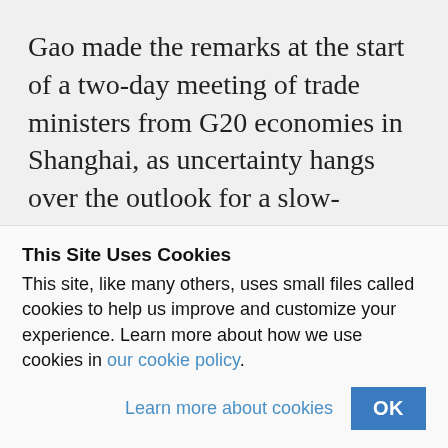Gao made the remarks at the start of a two-day meeting of trade ministers from G20 economies in Shanghai, as uncertainty hangs over the outlook for a slow-growing global economy now beset by post-Brexit reverberations.
The global economic recovery remained
This Site Uses Cookies
This site, like many others, uses small files called cookies to help us improve and customize your experience. Learn more about how we use cookies in our cookie policy.
Learn more about cookies  OK